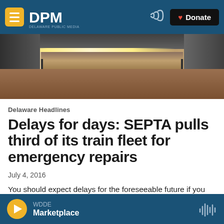DPM Delaware Public Media — Donate
[Figure (photo): Interior of a train car showing wooden floor, sliding doors, and overhead lighting strip]
Delaware Headlines
Delays for days: SEPTA pulls third of its train fleet for emergency repairs
July 4, 2016
You should expect delays for the foreseeable future if you take the train between Wilmington and Philadelphia.The Southeastern Pennsylvania Transportation
WDDE — Marketplace